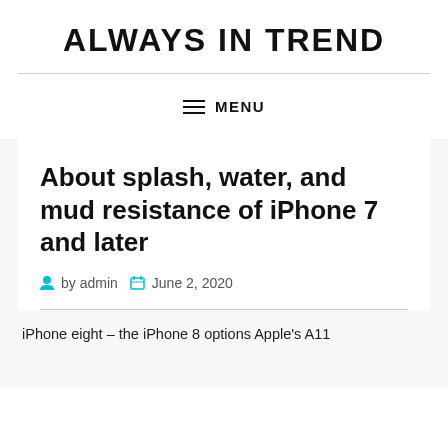ALWAYS IN TREND
MENU
About splash, water, and mud resistance of iPhone 7 and later
by admin   June 2, 2020
iPhone eight – the iPhone 8 options Apple's A11